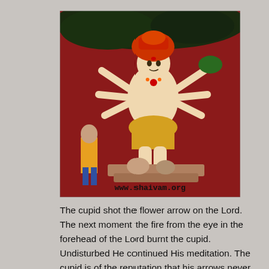[Figure (illustration): A colorful traditional Indian religious painting depicting a multi-armed deity (likely Shiva or Murugan) in red background with attendants. The image has a watermark 'www.shaivam.org' at the bottom.]
The cupid shot the flower arrow on the Lord. The next moment the fire from the eye in the forehead of the Lord burnt the cupid. Undisturbed He continued His meditation. The cupid is of the reputation that his arrows never fail. But well, it can apply to others, can it be for the Almighty ? His arrows were useless in front of the Lord and he too became just a heap of ash ! Shocked by the death of cupid all the dEvAs realized their plots